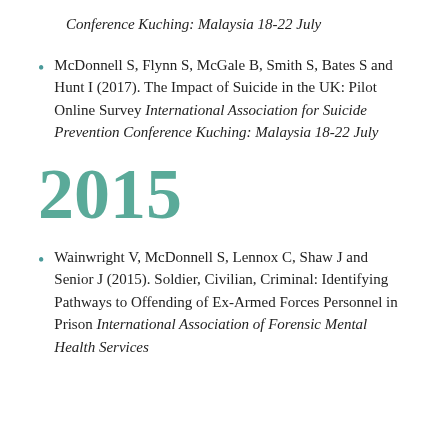Conference Kuching: Malaysia 18-22 July
McDonnell S, Flynn S, McGale B, Smith S, Bates S and Hunt I (2017). The Impact of Suicide in the UK: Pilot Online Survey International Association for Suicide Prevention Conference Kuching: Malaysia 18-22 July
2015
Wainwright V, McDonnell S, Lennox C, Shaw J and Senior J (2015). Soldier, Civilian, Criminal: Identifying Pathways to Offending of Ex-Armed Forces Personnel in Prison International Association of Forensic Mental Health Services